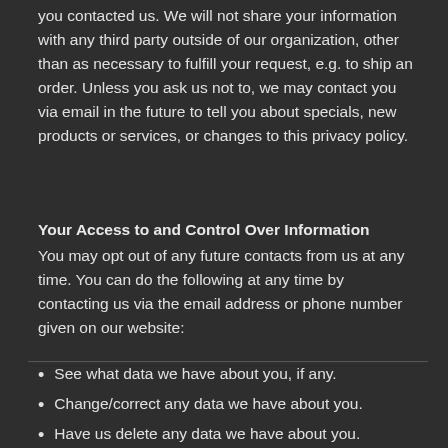you contacted us. We will not share your information with any third party outside of our organization, other than as necessary to fulfill your request, e.g. to ship an order. Unless you ask us not to, we may contact you via email in the future to tell you about specials, new products or services, or changes to this privacy policy.
Your Access to and Control Over Information
You may opt out of any future contacts from us at any time. You can do the following at any time by contacting us via the email address or phone number given on our website:
See what data we have about you, if any.
Change/correct any data we have about you.
Have us delete any data we have about you.
Express any concern you have about our use of your data.